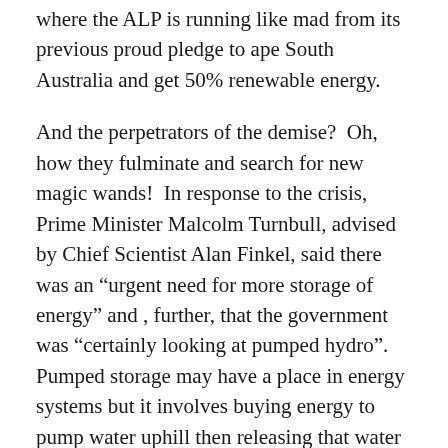where the ALP is running like mad from its previous proud pledge to ape South Australia and get 50% renewable energy.
And the perpetrators of the demise?  Oh, how they fulminate and search for new magic wands!  In response to the crisis, Prime Minister Malcolm Turnbull, advised by Chief Scientist Alan Finkel, said there was an “urgent need for more storage of energy” and , further, that the government was “certainly looking at pumped hydro”. Pumped storage may have a place in energy systems but it involves buying energy to pump water uphill then releasing that water to provide power at a time when it is more valuable. It detracts from, rather than adds to, the amount available. And he is looking at battery